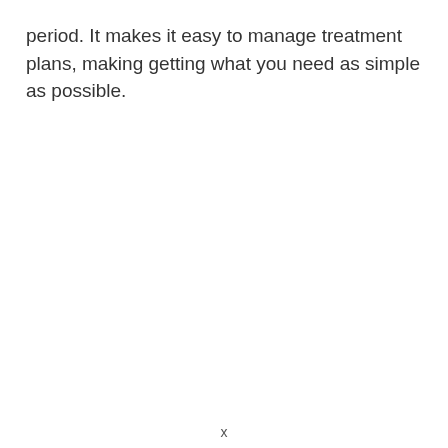period. It makes it easy to manage treatment plans, making getting what you need as simple as possible.
x